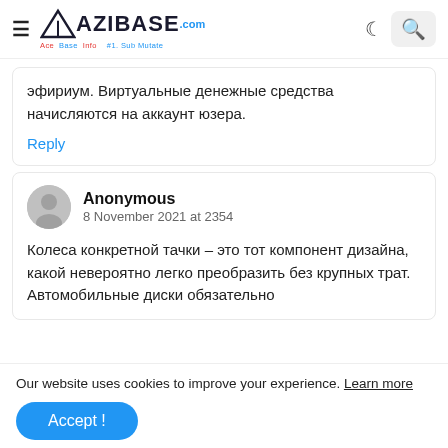AZIBASE.COM
эфириум. Виртуальные денежные средства начисляются на аккаунт юзера.
Reply
Anonymous
8 November 2021 at 2354
Колеса конкретной тачки – это тот компонент дизайна, какой невероятно легко преобразить без крупных трат. Автомобильные диски обязательно
Our website uses cookies to improve your experience. Learn more
Accept !